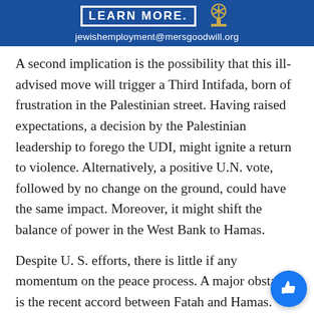[Figure (other): Blue banner advertisement with 'LEARN MORE' text, a menorah logo, and email address jewishemployment@mersgoodwill.org]
A second implication is the possibility that this ill-advised move will trigger a Third Intifada, born of frustration in the Palestinian street. Having raised expectations, a decision by the Palestinian leadership to forego the UDI, might ignite a return to violence. Alternatively, a positive U.N. vote, followed by no change on the ground, could have the same impact. Moreover, it might shift the balance of power in the West Bank to Hamas.
Despite U. S. efforts, there is little if any momentum on the peace process. A major obstacle is the recent accord between Fatah and Hamas. Israel correctly (as affirmed by President Barack Obama) will not make a deal with a government that includes those who explicitly reject its right to exist.